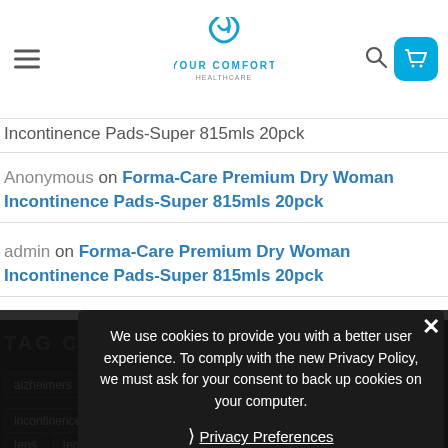Your Comfort Healthcare
Incontinence Pads-Super 815mls 20pck
Anonymous on Forma-Care Premium Dry Woman Incontinence Pads-Super 815mls 20pck
admin on Forma-Care Premium Dry Woman Incontinence Pads-Super 815mls 20pck
TAG CLOUD
We use cookies to provide you with a better user experience. To comply with the new Privacy Policy, we must ask for your consent to back up cookies on your computer.
Privacy Preferences
I Agree
alzheimers
carehomes
carers
cpap
cpap pillow
dementia
incontinence
incontinent
sleep zones
tens
tenspants
what causes incontinence